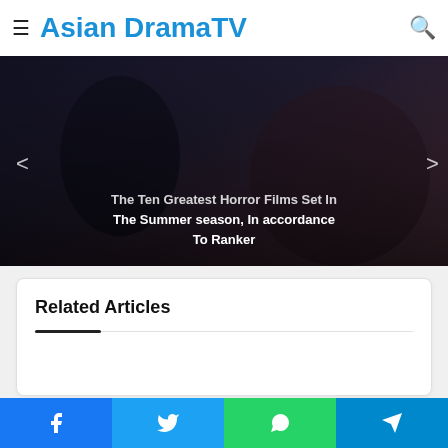Asian DramaTV
[Figure (screenshot): Hero image showing a dark horror/thriller scene with overlaid text about 'The Ten Greatest Horror Films Set In The Summer season, In accordance To Ranker'. Left and right navigation arrows visible.]
The Ten Greatest Horror Films Set In The Summer season, In accordance To Ranker
Related Articles
[Figure (other): Empty white space below Related Articles section header — content area for related article thumbnails not fully loaded]